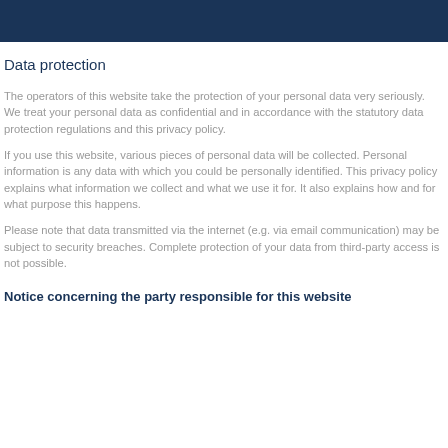Data protection
The operators of this website take the protection of your personal data very seriously. We treat your personal data as confidential and in accordance with the statutory data protection regulations and this privacy policy.
If you use this website, various pieces of personal data will be collected. Personal information is any data with which you could be personally identified. This privacy policy explains what information we collect and what we use it for. It also explains how and for what purpose this happens.
Please note that data transmitted via the internet (e.g. via email communication) may be subject to security breaches. Complete protection of your data from third-party access is not possible.
Notice concerning the party responsible for this website